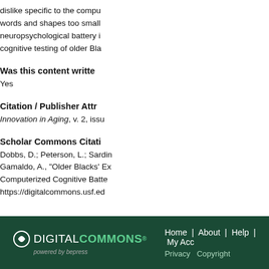dislike specific to the compu words and shapes too small neuropsychological battery i cognitive testing of older Bla
Was this content writte
Yes
Citation / Publisher Attr
Innovation in Aging, v. 2, issu
Scholar Commons Citati
Dobbs, D.; Peterson, L.; Sardin Gamaldo, A., "Older Blacks' Ex Computerized Cognitive Batte https://digitalcommons.usf.ed
[Figure (logo): Digital Commons powered by bepress logo in white and green on dark green background]
Home | About | Help | My Acc Privacy Copyright